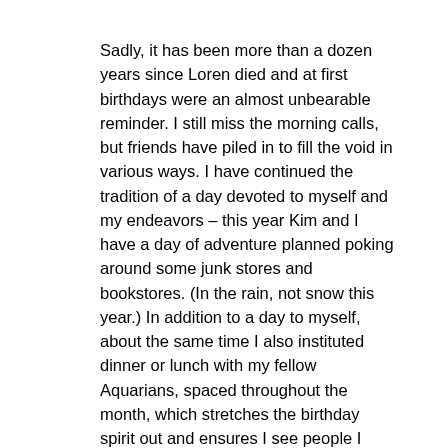Sadly, it has been more than a dozen years since Loren died and at first birthdays were an almost unbearable reminder. I still miss the morning calls, but friends have piled in to fill the void in various ways. I have continued the tradition of a day devoted to myself and my endeavors – this year Kim and I have a day of adventure planned poking around some junk stores and bookstores. (In the rain, not snow this year.) In addition to a day to myself, about the same time I also instituted dinner or lunch with my fellow Aquarians, spaced throughout the month, which stretches the birthday spirit out and ensures I see people I don't always get much time with. Dinner with Eileen (where we also have our fortunes told annually) is on Monday night. Lunch with Ada, who is in her 80's, is next week at the Met. Whitney was at the end of January to accommodate increasingly difficult schedules to juggle. New Aquarians await meeting and are always welcome to join the club.
Meanwhile, having devoted the past ten months to a new job, I have my work cut out for me in the coming twelve months –